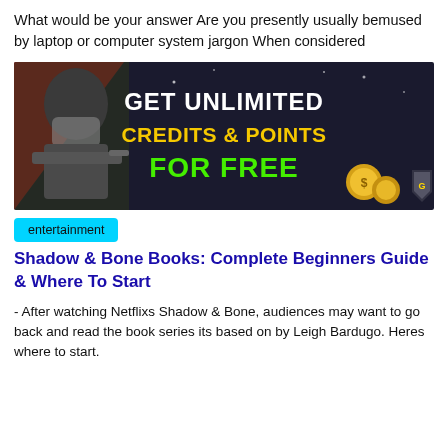What would be your answer Are you presently usually bemused by laptop or computer system jargon When considered
[Figure (infographic): Advertisement banner for a game cheat/hack tool. Dark background with a soldier character on the left. Large bold text reads 'GET UNLIMITED CREDITS & POINTS FOR FREE' in white and yellow/green. Gold coins and a shield icon visible on the right side. Red top-left corner accent.]
entertainment
Shadow & Bone Books: Complete Beginners Guide & Where To Start
- After watching Netflixs Shadow & Bone, audiences may want to go back and read the book series its based on by Leigh Bardugo. Heres where to start.